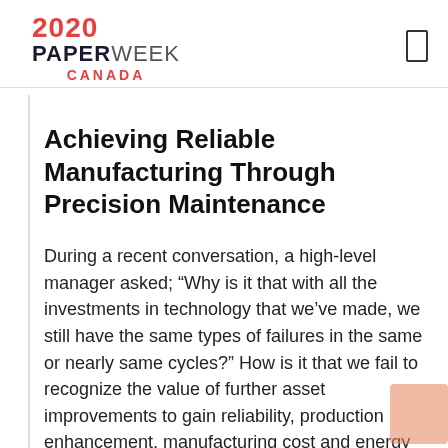2020 PAPERWEEK CANADA
Achieving Reliable Manufacturing Through Precision Maintenance
During a recent conversation, a high-level manager asked; “Why is it that with all the investments in technology that we’ve made, we still have the same types of failures in the same or nearly same cycles?” How is it that we fail to recognize the value of further asset improvements to gain reliability, production enhancement, manufacturing cost and energy conservation with correct application of on-the-floor skill sets? We need to consider how “mechanical” failures can be much more than just